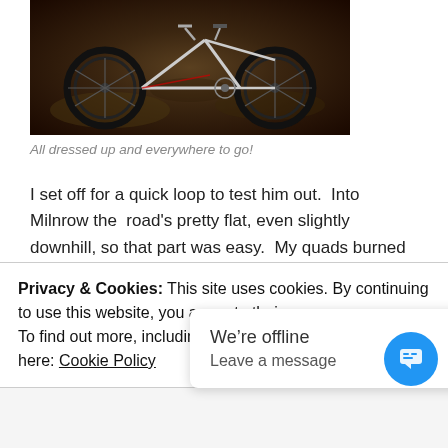[Figure (photo): A bicycle photographed from above/side against a dark ground background]
All dressed up and everywhere to go!
I set off for a quick loop to test him out.  Into Milnrow the  road's pretty flat, even slightly downhill, so that part was easy.  My quads burned a little so I pulled the seat up an inch: sorted.
I would never, ever, have thought about climbing Kiln Lane on my old Haro.  The foolhardy part of me said “go on son, you can do it” so I turned left and went for it.  Foolhardy is the word!  There’s no way on God’s good Earth that I’m climbing that hill at the moment, but I did get a lot higher than I ever have before!  What a bike.  It
Privacy & Cookies: This site uses cookies. By continuing to use this website, you agree to their use.
To find out more, including how to control cookies, see here: Cookie Policy
We’re offline
Leave a message